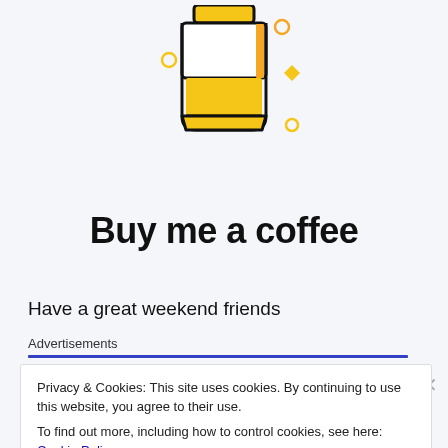[Figure (illustration): Yellow and orange coffee cup icon with decorative dots and diamond shapes on a light gray background]
Buy me a coffee
Have a great weekend friends
Advertisements
Privacy & Cookies: This site uses cookies. By continuing to use this website, you agree to their use.
To find out more, including how to control cookies, see here: Cookie Policy